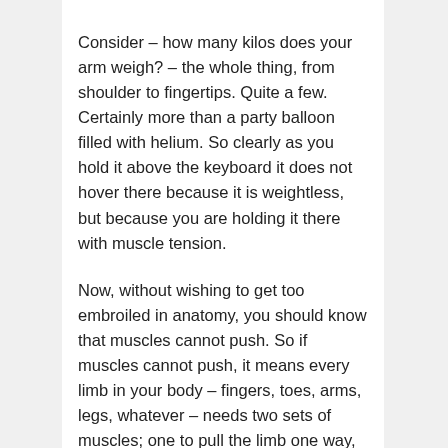Consider – how many kilos does your arm weigh? – the whole thing, from shoulder to fingertips. Quite a few. Certainly more than a party balloon filled with helium. So clearly as you hold it above the keyboard it does not hover there because it is weightless, but because you are holding it there with muscle tension.
Now, without wishing to get too embroiled in anatomy, you should know that muscles cannot push. So if muscles cannot push, it means every limb in your body – fingers, toes, arms, legs, whatever – needs two sets of muscles; one to pull the limb one way, and the other to pull it the other. To move a limb you have to instruct one set of muscles to override the other.
In other words when you are sitting at the piano supposedly perfectly relaxed you are doing no such thing. More accurately, you are sitting in a state of perfect balance with all the various muscles in your body acting one way exactly balanced by their opposite number acting the other. Your arm hovering above the keyboard is being